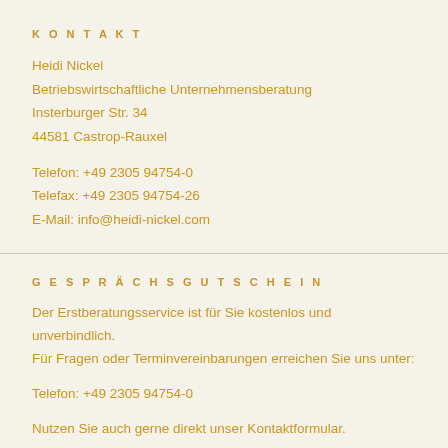KONTAKT
Heidi Nickel
Betriebswirtschaftliche Unternehmensberatung
Insterburger Str. 34
44581 Castrop-Rauxel
Telefon: +49 2305 94754-0
Telefax: +49 2305 94754-26
E-Mail: info@heidi-nickel.com
GESPRÄCHSGUTSCHEIN
Der Erstberatungsservice ist für Sie kostenlos und unverbindlich. Für Fragen oder Terminvereinbarungen erreichen Sie uns unter:
Telefon: +49 2305 94754-0
Nutzen Sie auch gerne direkt unser Kontaktformular.